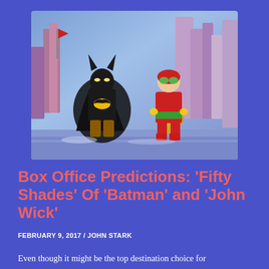[Figure (photo): LEGO Batman and Robin figures standing side by side against a blue cityscape background. Batman is in black with yellow bat symbol, Robin is in red and yellow costume with green goggles.]
Box Office Predictions: ‘Fifty Shades’ Of ‘Batman’ and ‘John Wick’
FEBRUARY 9, 2017 / JOHN STARK
Even though it might be the top destination choice for